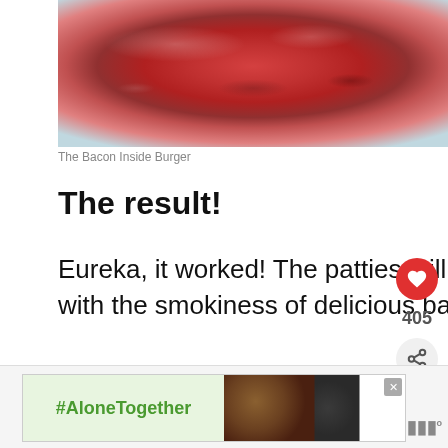[Figure (photo): Close-up photo of raw ground beef / burger patty with pink and red meat texture against a light blue background]
The Bacon Inside Burger
The result!
Eureka, it worked! The patties still had substantial beef flavour but with the smokiness of delicious bacon in every bite.
[Figure (screenshot): What's Next panel showing a burger thumbnail with text 'Bacon Sundried...']
[Figure (screenshot): Advertisement banner: #AloneTogether with image of two people waving]